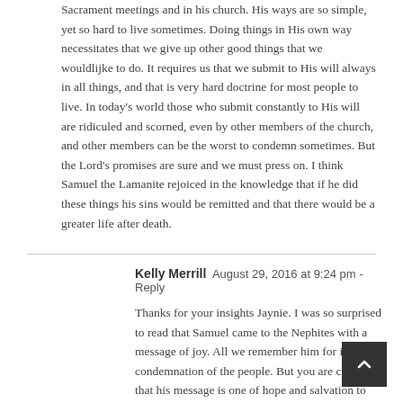Sacrament meetings and in his church. His ways are so simple, yet so hard to live sometimes. Doing things in His own way necessitates that we give up other good things that we wouldlijke to do. It requires us that we submit to His will always in all things, and that is very hard doctrine for most people to live. In today's world those who submit constantly to His will are ridiculed and scorned, even by other members of the church, and other members can be the worst to condemn sometimes. But the Lord's promises are sure and we must press on. I think Samuel the Lamanite rejoiced in the knowledge that if he did these things his sins would be remitted and that there would be a greater life after death.
Kelly Merrill  August 29, 2016 at 9:24 pm - Reply
Thanks for your insights Jaynie. I was so surprised to read that Samuel came to the Nephites with a message of joy. All we remember him for is his condemnation of the people. But you are correct in that his message is one of hope and salvation to those who are looking to the Savior to live. Thanks